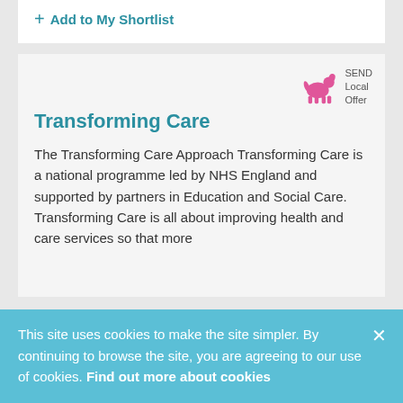+ Add to My Shortlist
[Figure (logo): SEND Local Offer logo with pink dog icon]
Transforming Care
The Transforming Care Approach Transforming Care is a national programme led by NHS England and supported by partners in Education and Social Care. Transforming Care is all about improving health and care services so that more
This site uses cookies to make the site simpler. By continuing to browse the site, you are agreeing to our use of cookies. Find out more about cookies